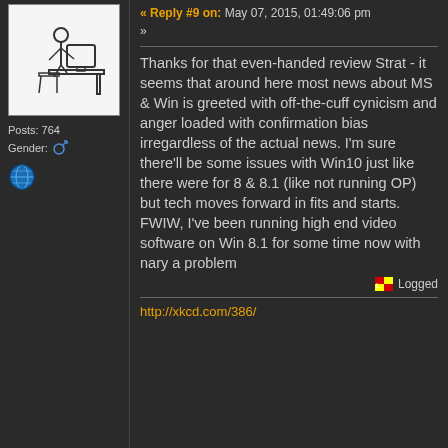[Figure (illustration): Stick figure person sitting at a desk with a computer monitor]
Posts: 764
Gender: [male icon]
[Figure (illustration): Globe/world icon]
« Reply #9 on: May 07, 2015, 01:49:06 pm »
Thanks for that even-handed review Strat - it seems that around here most news about MS & Win is greeted with off-the-cuff cynicism and anger loaded with confirmation bias irregardless of the actual news. I'm sure there'll be some issues with Win10 just like there were for 8 & 8.1 (like not running OP) but tech moves forward in fits and starts. FWIW, I've been running high end video software on Win 8.1 for some time now with nary a problem
Logged
http://xkcd.com/386/